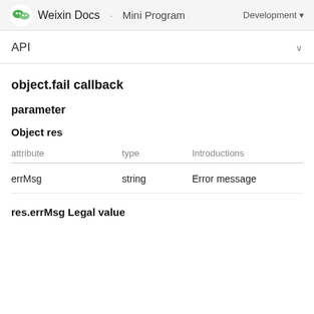Weixin Docs · Mini Program — Development
API
object.fail callback
parameter
Object res
| attribute | type | Introductions |
| --- | --- | --- |
| errMsg | string | Error message |
res.errMsg Legal value